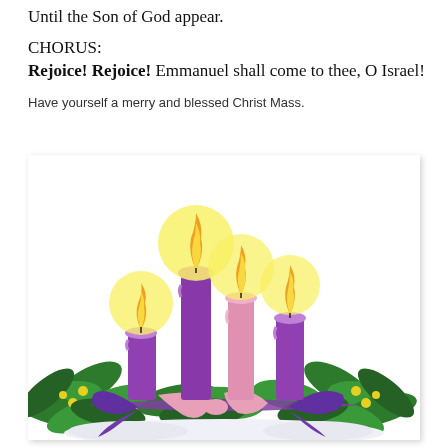Until the Son of God appear.
CHORUS:
Rejoice! Rejoice! Emmanuel shall come to thee, O Israel!
Have yourself a merry and blessed Christ Mass.
[Figure (illustration): Advent wreath illustration with four candles (three purple, one pink) with yellow flames and glowing halos, surrounded by green holly leaves with yellow berries and purple and pink ribbon bows at the base.]